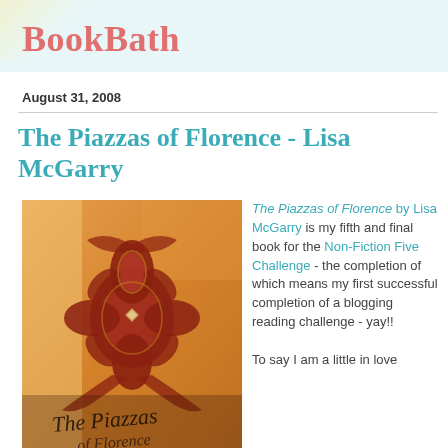BookBath
August 31, 2008
The Piazzas of Florence - Lisa McGarry
[Figure (photo): Book cover of 'The Piazzas of Florence' by Lisa McGarry, featuring an ornate red and gold floral/damask design on an orange background with decorative script text at the bottom.]
The Piazzas of Florence by Lisa McGarry is my fifth and final book for the Non-Fiction Five Challenge - the completion of which means my first successful completion of a blogging reading challenge - yay!!  To say I am a little in love